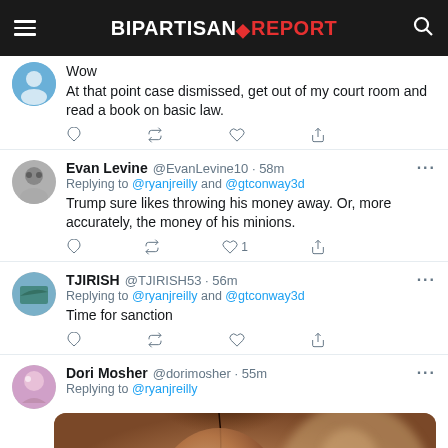BIPARTISAN REPORT
Wow
At that point case dismissed, get out of my court room and read a book on basic law.
Evan Levine @EvanLevine10 · 58m
Replying to @ryanjreilly and @gtconway3d
Trump sure likes throwing his money away. Or, more accurately, the money of his minions.
TJIRISH @TJIRISH53 · 56m
Replying to @ryanjreilly and @gtconway3d
Time for sanction
Dori Mosher @dorimosher · 55m
Replying to @ryanjreilly
[Figure (photo): A close-up photo of a young man with brown hair looking down, with a blurred person visible in the background]